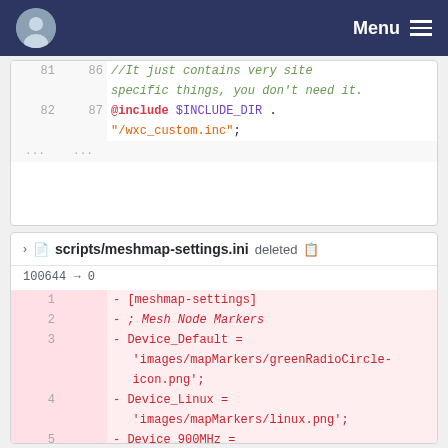Menu
81  86  //It just contains very site specific things, you don't need it.
82  87  @include $INCLUDE_DIR . "/wxc_custom.inc";
...  ...
scripts/meshmap-settings.ini deleted
100644 → 0
1 - [meshmap-settings]
2 - ; Mesh Node Markers
3 - Device_Default = 'images/mapMarkers/greenRadioCircle-icon.png';
4 - Device_Linux = 'images/mapMarkers/linux.png';
5 - Device_900MHz = 'images/mapMarkers/magentaRadioCircle-icon.png';
6 - Device_24GHz =